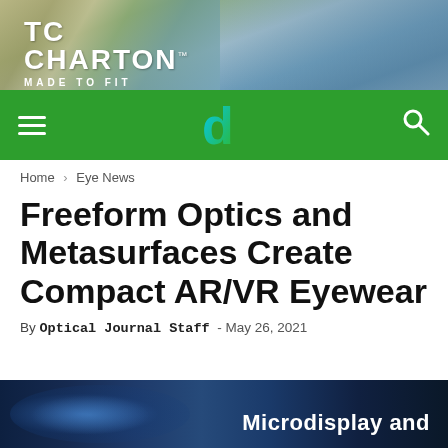[Figure (photo): TC Charton banner advertisement showing two models wearing sunglasses against a coastal background, with logo text 'TC CHARTON MADE TO FIT']
≡  d  🔍
Home › Eye News
Freeform Optics and Metasurfaces Create Compact AR/VR Eyewear
By Optical Journal Staff - May 26, 2021
[Figure (photo): Partial image showing blue toned background with text 'Microdisplay and' visible at bottom of page]